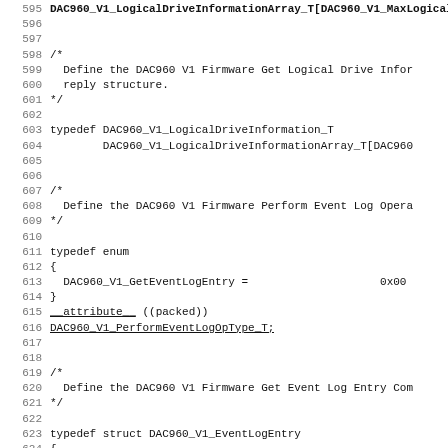Source code listing, lines 595-627, C header file defining DAC960 V1 firmware structures
595 [bold truncated line]
596 (blank)
597 (blank)
598 /*
599    Define the DAC960 V1 Firmware Get Logical Drive Infor
600    reply structure.
601 */
602 (blank)
603 typedef DAC960_V1_LogicalDriveInformation_T
604         DAC960_V1_LogicalDriveInformationArray_T[DAC960
605 (blank)
606 (blank)
607 /*
608    Define the DAC960 V1 Firmware Perform Event Log Opera
609 */
610 (blank)
611 typedef enum
612 {
613   DAC960_V1_GetEventLogEntry =                    0x00
614 }
615 __attribute__ ((packed))
616 DAC960_V1_PerformEventLogOpType_T;
617 (blank)
618 (blank)
619 /*
620    Define the DAC960 V1 Firmware Get Event Log Entry Com
621 */
622 (blank)
623 typedef struct DAC960_V1_EventLogEntry
624 {
625   unsigned char MessageType;
626   unsigned char MessageLength;
627   unsigned char TargetID:5;